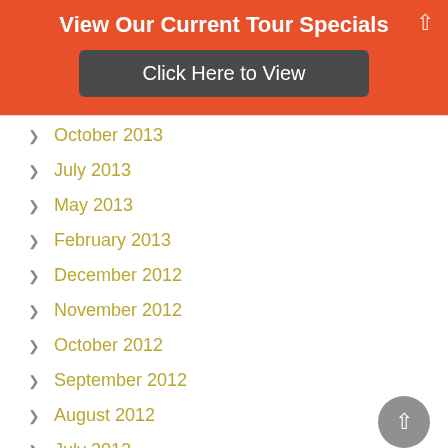View Our Current Tour Specials
Click Here to View
October 2013
July 2013
May 2013
February 2013
December 2012
November 2012
October 2012
September 2012
August 2012
July 2012